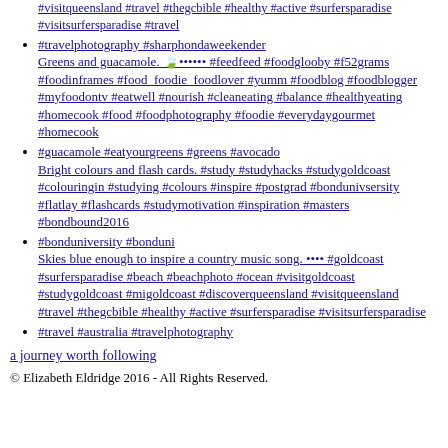#visitqueensland #travel #thegcbible #healthy #active #surfersparadise #visitsurfersparadise #travel
#travelphotography #sharphondaweekender
Greens and guacamole. 🌿•••••• #feedfeed #foodglooby #f52grams #foodinframes #food_foodie_foodlover #yumm #foodblog #foodblogger #myfoodontv #eatwell #nourish #cleaneating #balance #healthyeating #homecook #food #foodphotography #foodie #everydaygourmet #homecook
#guacamole #eatyourgreens #greens #avocado
Bright colours and flash cards. #study #studyhacks #studygoldcoast #colouringin #studying #colours #inspire #postgrad #bondunivsersity #flatlay #flashcards #studymotivation #inspiration #masters #bondbound2016
#bonduniversity #bonduni
Skies blue enough to inspire a country music song. •••• #goldcoast #surfersparadise #beach #beachphoto #ocean #visitgoldcoast #studygoldcoast #migoldcoast #discoverqueensland #visitqueensland #travel #thegcbible #healthy #active #surfersparadise #visitsurfersparadise
#travel #australia #travelphotography
a journey worth following
© Elizabeth Eldridge 2016 - All Rights Reserved.